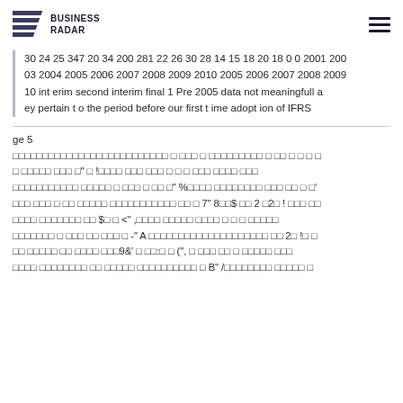BUSINESS RADAR
30 24 25 347 20 34 200 281 22 26 30 28 14 15 18 20 18 0 0 2001 200 03 2004 2005 2006 2007 2008 2009 2010 2005 2006 2007 2008 2009 10 int erim second interim final 1 Pre 2005 data not meaningful a ey pertain t o the period before our first t ime adopt ion of IFRS
ge 5
□□□□□□□□□□□□□□□□□□□□□□□□□□□ □ □□□ □ □□□□□□□□□ □ □□ □ □ □ □ □□□□□ □□□ □" □ !□□□□ □□□ □□□ □ □ □ □□□ □□□□ □□□ □□□□□□□□□□ □□□□□ □ □□□ □ □□ □" %□□□□ □□□□□□□□ □□□ □□ □ □' □□□ □□□ □ □□ □□□□□ □□□□□□□□□□□ □□ □ 7" 8□□$ □□ 2 □2□ ! □□□ □□ □□□□ □□□□□□□ □□ $□ □ <" ,□□□□ □□□□□ □□□□ □ □ □ □□□□□ □□□□□□□ □ □□□ □□ □□□ □ -" A □□□□□□□□□□□□□□□□□□□□ □□ 2□ !□ □ □□ □□□□□ □□ □□□□ □□□9&' □ □□:□ □ (", □ □□□ □□ □ □□□□□ □□□ □□□□ □□□□□□□□ □□ □□□□□ □□□□□□□□□□ □ B" /□□□□□□□□ □□□□□ □